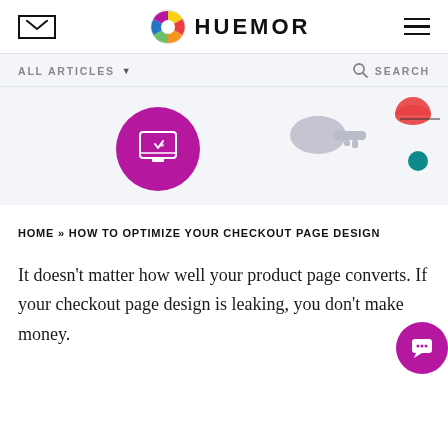HUEMOR
ALL ARTICLES  SEARCH
[Figure (screenshot): Hero strip with decorative icons: purple circle with checkout/web icon, gray key/cart graphic, pink half-circle and teal dot]
HOME » HOW TO OPTIMIZE YOUR CHECKOUT PAGE DESIGN
It doesn't matter how well your product page converts. If your checkout page design is leaking, you don't make money.